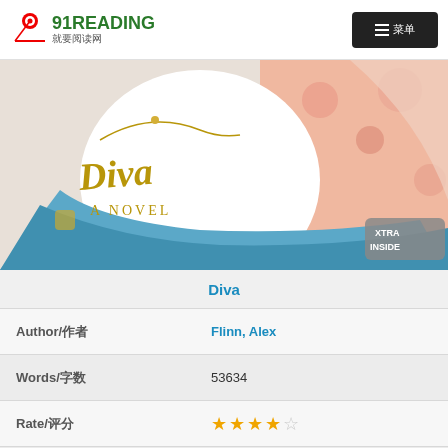91READING 就要阅读网
[Figure (illustration): Book cover illustration for 'Diva: A Novel' showing stylized cartoon art with gold lettered title, a figure in blue clothing, and pink floral background, with 'XTRA INSIDE' badge]
Diva
| Field | Value |
| --- | --- |
| Author/作者 | Flinn, Alex |
| Words/字数 | 53634 |
| Rate/评分 | ★★★★☆ |
| Interest Level/兴趣 | UG (UG 9-12) |
| MM Level/MM 级别 | MM Level-3.6 |